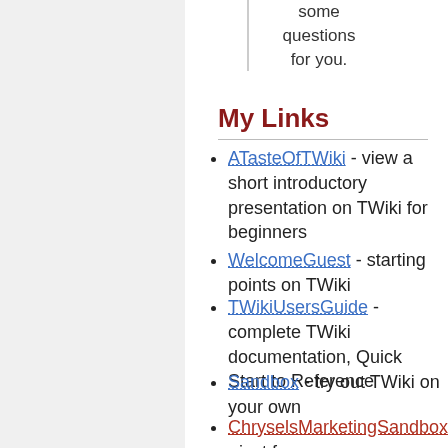some questions for you.
My Links
ATasteOfTWiki - view a short introductory presentation on TWiki for beginners
WelcomeGuest - starting points on TWiki
TWikiUsersGuide - complete TWiki documentation, Quick Start to Reference
Sandbox - try out TWiki on your own
ChryselsMarketingSandbox - just for me